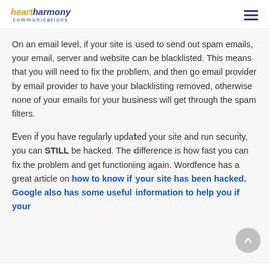heartharmony communications
On an email level, if your site is used to send out spam emails, your email, server and website can be blacklisted. This means that you will need to fix the problem, and then go email provider by email provider to have your blacklisting removed, otherwise none of your emails for your business will get through the spam filters.
Even if you have regularly updated your site and run security, you can STILL be hacked. The difference is how fast you can fix the problem and get functioning again. Wordfence has a great article on how to know if your site has been hacked. Google also has some useful information to help you if your